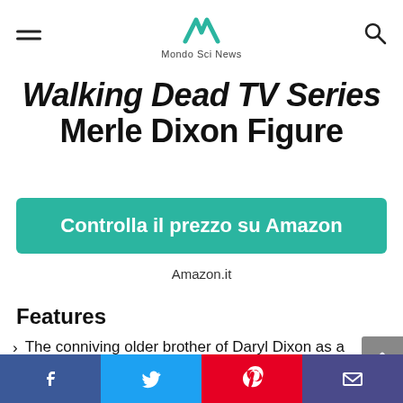Mondo Sci News
Walking Dead TV Series Merle Dixon Figure
Controlla il prezzo su Amazon
Amazon.it
Features
The conniving older brother of Daryl Dixon as a stylized vinyl figure. The Walking Dead TV Series Merle Dixon Pop. Vinyl Figure features the Governor's right-hand man, who ironically doesn't have a right hand in the show?
Facebook Twitter Pinterest Email